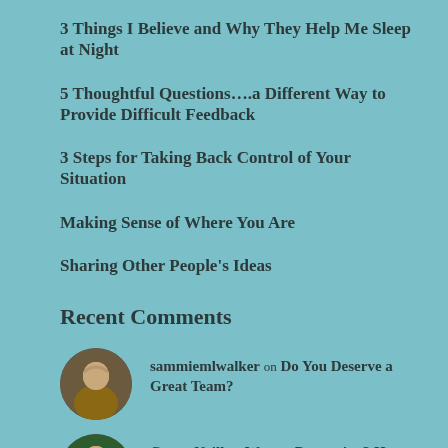3 Things I Believe and Why They Help Me Sleep at Night
5 Thoughtful Questions….a Different Way to Provide Difficult Feedback
3 Steps for Taking Back Control of Your Situation
Making Sense of Where You Are
Sharing Other People's Ideas
Recent Comments
sammiemlwalker on Do You Deserve a Great Team?
Conor Neill on Want a Promotion? Here are Thr...
[Figure (photo): Partial avatar photo at bottom, cropped]